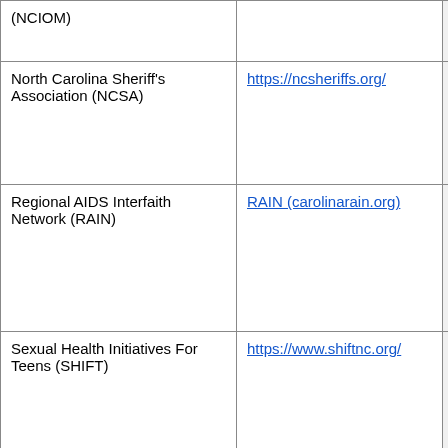| Organization | Website |  |
| --- | --- | --- |
| (NCIOM) |  |  |
| North Carolina Sheriff's Association (NCSA) | https://ncsheriffs.org/ |  |
| Regional AIDS Interfaith Network (RAIN) | RAIN (carolinarain.org) |  |
| Sexual Health Initiatives For Teens (SHIFT) | https://www.shiftnc.org/ |  |
| Society for Public Health Education (SOPHE) | https://www.sophe.org/ |  |
| Southeast STD/HIV Prevention... | https://nnptc.org/locations/southeas |  |